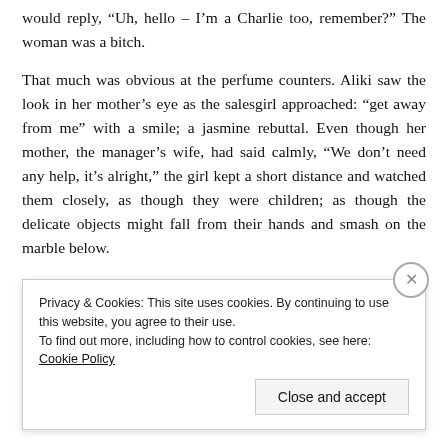would reply, “Uh, hello – I’m a Charlie too, remember?” The woman was a bitch.
That much was obvious at the perfume counters. Aliki saw the look in her mother’s eye as the salesgirl approached: “get away from me” with a smile; a jasmine rebuttal. Even though her mother, the manager’s wife, had said calmly, “We don’t need any help, it’s alright,” the girl kept a short distance and watched them closely, as though they were children; as though the delicate objects might fall from their hands and smash on the marble below.
Privacy & Cookies: This site uses cookies. By continuing to use this website, you agree to their use.
To find out more, including how to control cookies, see here: Cookie Policy